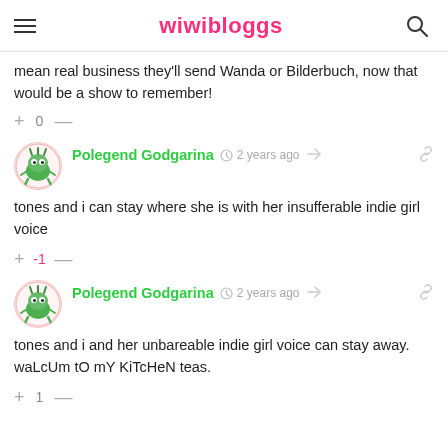wiwibloggs
mean real business they'll send Wanda or Bilderbuch, now that would be a show to remember!
+ 0 —
Polegend Godgarina · 2 years ago
tones and i can stay where she is with her insufferable indie girl voice
+ -1 —
Polegend Godgarina · 2 years ago
tones and i and her unbareable indie girl voice can stay away. waLcUm tO mY KiTcHeN teas.
+ 1 —